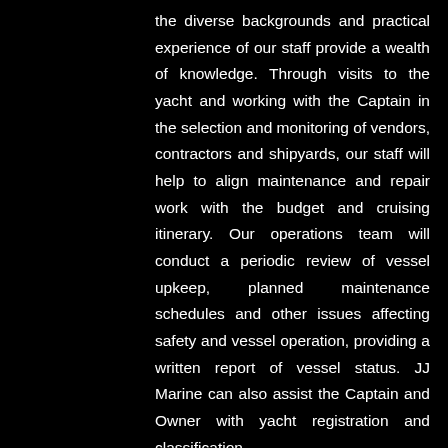the diverse backgrounds and practical experience of our staff provide a wealth of knowledge. Through visits to the yacht and working with the Captain in the selection and monitoring of vendors, contractors and shipyards, our staff will help to align maintenance and repair work with the budget and cruising itinerary. Our operations team will conduct a periodic review of vessel upkeep, planned maintenance schedules and other issues affecting safety and vessel operation, providing a written report of vessel status. JJ Marine can also assist the Captain and Owner with yacht registration and classification.